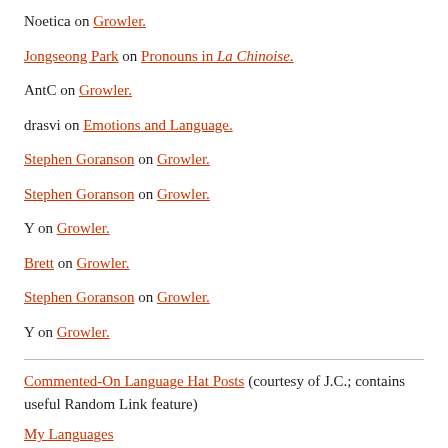Noetica on Growler.
Jongseong Park on Pronouns in La Chinoise.
AntC on Growler.
drasvi on Emotions and Language.
Stephen Goranson on Growler.
Stephen Goranson on Growler.
Y on Growler.
Brett on Growler.
Stephen Goranson on Growler.
Y on Growler.
Commented-On Language Hat Posts (courtesy of J.C.; contains useful Random Link feature)
My Languages
My Hats
Email